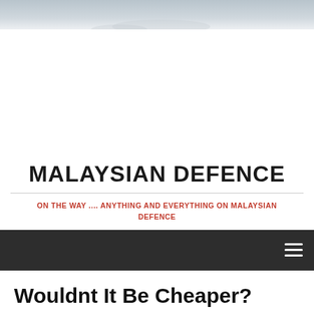[Figure (photo): Hero banner image showing a sky/haze scene at the top of the page]
MALAYSIAN DEFENCE
ON THE WAY .... ANYTHING AND EVERYTHING ON MALAYSIAN DEFENCE
Navigation bar with hamburger menu
Wouldnt It Be Cheaper?